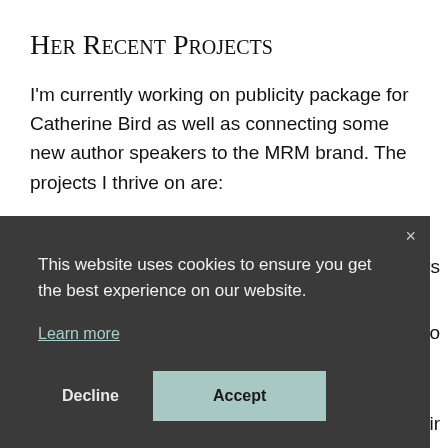Her Recent Projects
I'm currently working on publicity package for Catherine Bird as well as connecting some new author speakers to the MRM brand. The projects I thrive on are:
[Figure (screenshot): Cookie consent modal overlay with dark background (#3a3a3a). Contains text: 'This website uses cookies to ensure you get the best experience on our website.' with a 'Learn more' link, and two buttons: 'Decline' and 'Accept'. A close (×) button is in the top right corner. Partial page text is visible to the right: 'thers', 'so', 'for', 'their'.]
message of hope